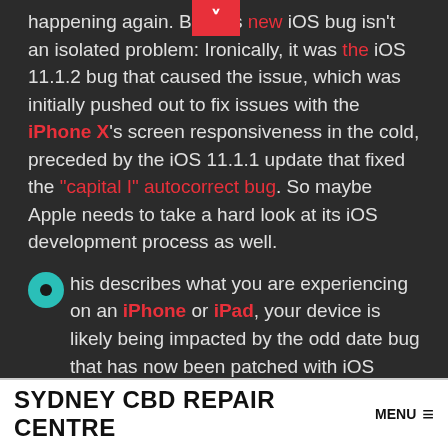happening again. But this new iOS bug isn't an isolated problem: Ironically, it was the iOS 11.1.2 bug that caused the issue, which was initially pushed out to fix issues with the iPhone X's screen responsiveness in the cold, preceded by the iOS 11.1.1 update that fixed the "capital I" autocorrect bug. So maybe Apple needs to take a hard look at its iOS development process as well.
This describes what you are experiencing on an iPhone or iPad, your device is likely being impacted by the odd date bug that has now been patched with iOS 11.2.
In other words, you can fix this problem (or prevent it from happening in the first place) by downloading and installing iOS 11.2 on the iPhone or iPad.
SYDNEY CBD REPAIR CENTRE  MENU